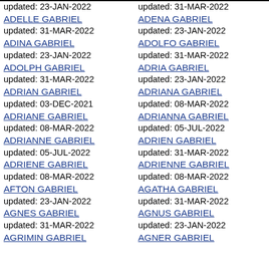updated: 23-JAN-2022
ADELLE GABRIEL
updated: 31-MAR-2022
ADINA GABRIEL
updated: 23-JAN-2022
ADOLPH GABRIEL
updated: 31-MAR-2022
ADRIAN GABRIEL
updated: 03-DEC-2021
ADRIANE GABRIEL
updated: 08-MAR-2022
ADRIANNE GABRIEL
updated: 05-JUL-2022
ADRIENE GABRIEL
updated: 08-MAR-2022
AFTON GABRIEL
updated: 23-JAN-2022
AGNES GABRIEL
updated: 31-MAR-2022
updated: 31-MAR-2022
ADENA GABRIEL
updated: 23-JAN-2022
ADOLFO GABRIEL
updated: 31-MAR-2022
ADRIA GABRIEL
updated: 23-JAN-2022
ADRIANA GABRIEL
updated: 08-MAR-2022
ADRIANNA GABRIEL
updated: 05-JUL-2022
ADRIEN GABRIEL
updated: 31-MAR-2022
ADRIENNE GABRIEL
updated: 08-MAR-2022
AGATHA GABRIEL
updated: 31-MAR-2022
AGNUS GABRIEL
updated: 23-JAN-2022